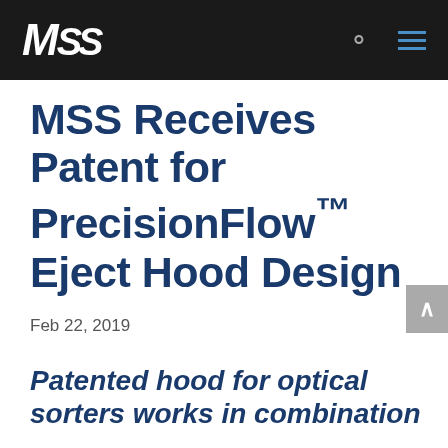MSS
MSS Receives Patent for PrecisionFlow™ Eject Hood Design
Feb 22, 2019
Patented hood for optical sorters works in combination